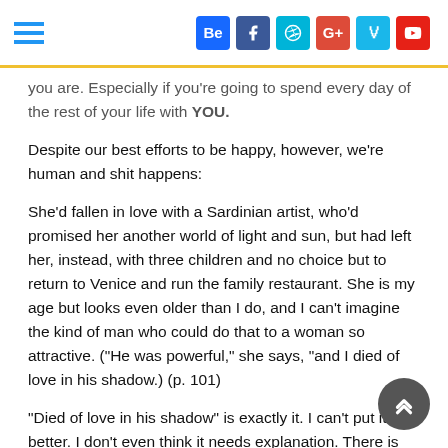Social media icons: Behance, Facebook, Dribbble, Google+, Vine, YouTube; hamburger menu
you are. Especially if you're going to spend every day of the rest of your life with YOU.
Despite our best efforts to be happy, however, we're human and shit happens:
She'd fallen in love with a Sardinian artist, who'd promised her another world of light and sun, but had left her, instead, with three children and no choice but to return to Venice and run the family restaurant. She is my age but looks even older than I do, and I can't imagine the kind of man who could do that to a woman so attractive. ("He was powerful," she says, "and I died of love in his shadow.) (p. 101)
"Died of love in his shadow" is exactly it. I can't put it any better. I don't even think it needs explanation. There is pain and sorrow everywhere, within everyone. "Life is what happens while you're making other plans." Right? The author ends up in Bali, visiting daily with a medicine man. She asks him how to cure the craziness of the world: